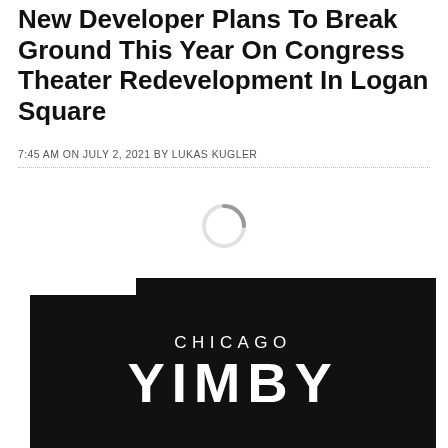New Developer Plans To Break Ground This Year On Congress Theater Redevelopment In Logan Square
7:45 AM ON JULY 2, 2021 BY LUKAS KUGLER
[Figure (other): Loading spinner icon (circular arc in gray)]
Loading More...
[Figure (logo): Chicago YIMBY logo — white text on black background. Top line: CHICAGO in spaced capitals. Below: YIMBY in large bold letters.]